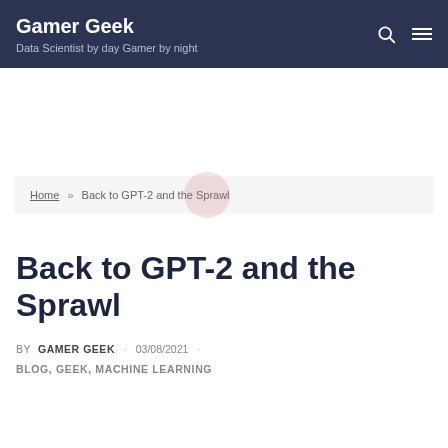Gamer Geek
Data Scientist by day Gamer by night
Home » Back to GPT-2 and the Sprawl
Back to GPT-2 and the Sprawl
BY GAMER GEEK · 03/08/2021 · BLOG, GEEK, MACHINE LEARNING